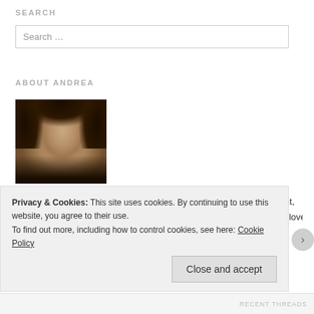SEARCH
Search …
ABOUT ANDREA
[Figure (photo): Portrait photo of Andrea, a woman with dark brown hair, smiling, wearing a dark top.]
New blogger, old journal writer, Harriet the Spy wannabe, sister, aunt, Dodger fan, sci-fi nerd, book whore, twitter addict, Ravenclaw, wine lover, a…
Privacy & Cookies: This site uses cookies. By continuing to use this website, you agree to their use. To find out more, including how to control cookies, see here: Cookie Policy
Close and accept
RECENT THREADS